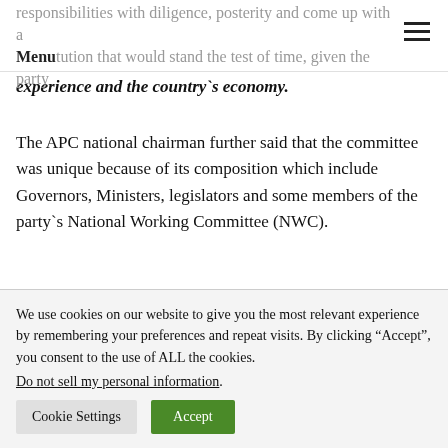Menu
responsibilities with diligence, posterity and come up with a constitution that would stand the test of time, given the party experience and the country`s economy.
The APC national chairman further said that the committee was unique because of its composition which include Governors, Ministers, legislators and some members of the party`s National Working Committee (NWC).
“It is a committee that embraces all facets, both from the APC and APC in government.
We use cookies on our website to give you the most relevant experience by remembering your preferences and repeat visits. By clicking “Accept”, you consent to the use of ALL the cookies. Do not sell my personal information.